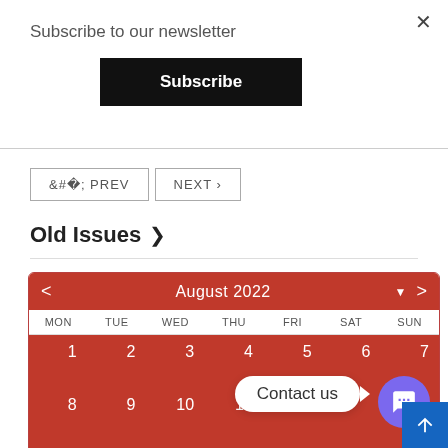×
Subscribe to our newsletter
Subscribe
< PREV   NEXT >
Old Issues  >
[Figure (other): Calendar widget showing August 2022 with days MON-SUN and dates 1-20 visible, red background cells, navigation arrows]
Contact us